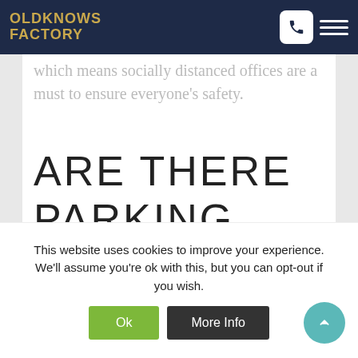OLDKNOWS FACTORY
which means socially distanced offices are a must to ensure everyone's safety.
ARE THERE PARKING SPACES?
This website uses cookies to improve your experience. We'll assume you're ok with this, but you can opt-out if you wish.